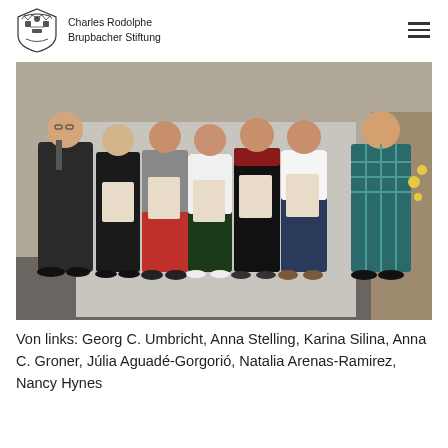Charles Rodolphe Brupbacher Stiftung
[Figure (photo): Group photo of seven people (one man and six women) standing indoors, several holding award certificates. From left: Georg C. Umbricht, Anna Stelling, Karina Silina, Anna C. Groner, Júlia Aguadé-Gorgorió, Natalia Arenas-Ramirez, Nancy Hynes.]
Von links: Georg C. Umbricht, Anna Stelling, Karina Silina, Anna C. Groner, Júlia Aguadé-Gorgorió, Natalia Arenas-Ramirez, Nancy Hynes